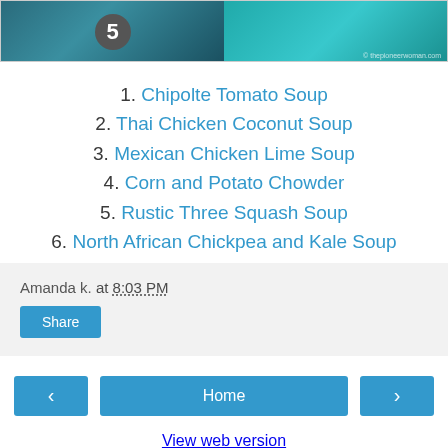[Figure (photo): Two food images side by side: left shows a dark background with a circular badge showing number 5, right shows a colorful illustrated bowl on teal background with watermark text]
1. Chipolte Tomato Soup
2. Thai Chicken Coconut Soup
3. Mexican Chicken Lime Soup
4. Corn and Potato Chowder
5. Rustic Three Squash Soup
6. North African Chickpea and Kale Soup
Amanda k. at 8:03 PM
Share
Home
View web version
Powered by Blogger.